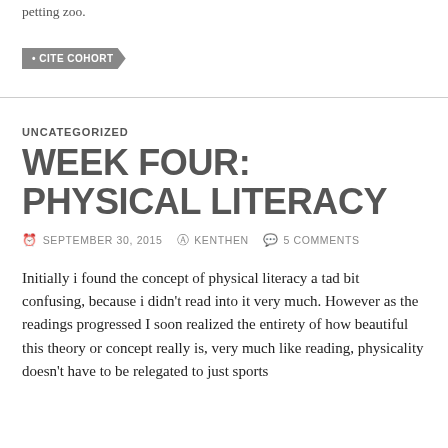petting zoo.
• CITE COHORT
UNCATEGORIZED
WEEK FOUR: PHYSICAL LITERACY
SEPTEMBER 30, 2015   KENTHEN   5 COMMENTS
Initially i found the concept of physical literacy a tad bit confusing, because i didn't read into it very much. However as the readings progressed I soon realized the entirety of how beautiful this theory or concept really is, very much like reading, physicality doesn't have to be relegated to just sports